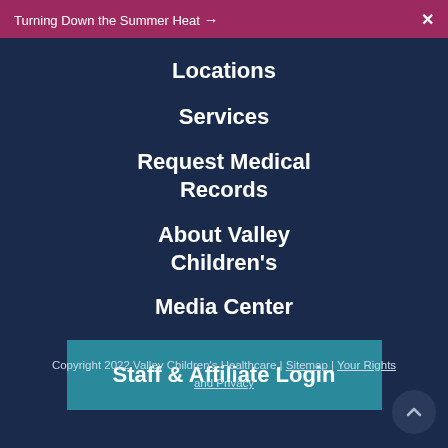Turning Down the Summer Heat →  X
Locations
Services
Request Medical Records
About Valley Children's
Media Center
Staff & Affiliate Login
Copyright 2022 Valley Children's Healthcare | Sitemap | Your Rights and Privacy